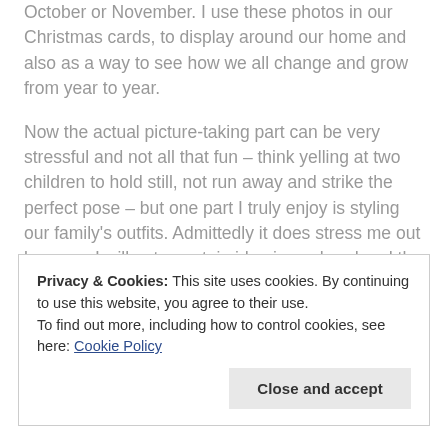October or November. I use these photos in our Christmas cards, to display around our home and also as a way to see how we all change and grow from year to year.
Now the actual picture-taking part can be very stressful and not all that fun – think yelling at two children to hold still, not run away and strike the perfect pose – but one part I truly enjoy is styling our family's outfits. Admittedly it does stress me out because I will get a certain idea in my head and the perfectionist in me goes crazy but I love the process, and then admiring the outcome.
Privacy & Cookies: This site uses cookies. By continuing to use this website, you agree to their use.
To find out more, including how to control cookies, see here: Cookie Policy